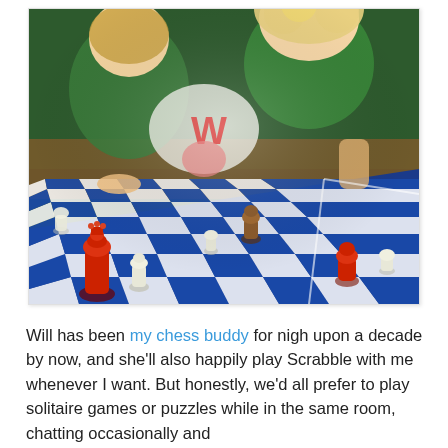[Figure (photo): A close-up photo of a chess board with blue and white squares. Several chess pieces are visible including red/brown and white pieces. In the background, two people (appears to be young women) are leaning over the board. One wears a green shirt, the other a white shirt with a colorful letter 'W' design.]
Will has been my chess buddy for nigh upon a decade by now, and she'll also happily play Scrabble with me whenever I want. But honestly, we'd all prefer to play solitaire games or puzzles while in the same room, chatting occasionally and